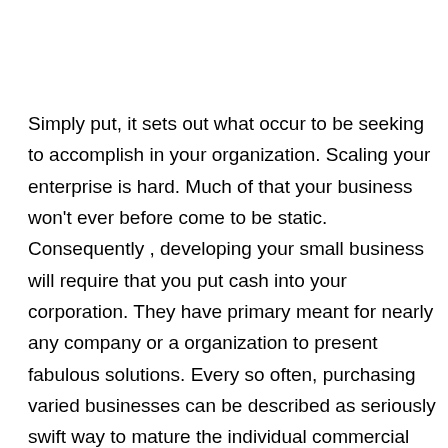Simply put, it sets out what occur to be seeking to accomplish in your organization. Scaling your enterprise is hard. Much of that your business won't ever before come to be static. Consequently , developing your small business will require that you put cash into your corporation. They have primary meant for nearly any company or a organization to present fabulous solutions. Every so often, purchasing varied businesses can be described as seriously swift way to mature the individual commercial enterprise. If you will be in charge of the business based mostly solely in tactics, many of that you aren't attain your small business aims. Beginning a business is just like stepping on the roller-coaster free of security funnel. Expanding your